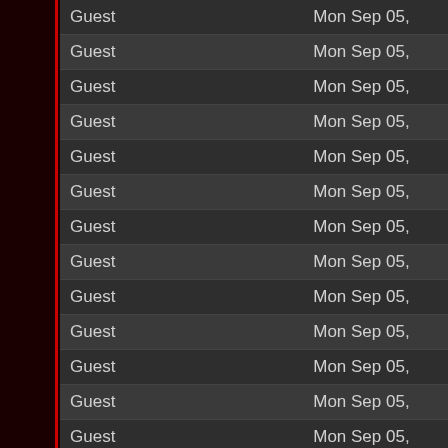| Name | Date |
| --- | --- |
| Guest | Mon Sep 05, |
| Guest | Mon Sep 05, |
| Guest | Mon Sep 05, |
| Guest | Mon Sep 05, |
| Guest | Mon Sep 05, |
| Guest | Mon Sep 05, |
| Guest | Mon Sep 05, |
| Guest | Mon Sep 05, |
| Guest | Mon Sep 05, |
| Guest | Mon Sep 05, |
| Guest | Mon Sep 05, |
| Guest | Mon Sep 05, |
| Guest | Mon Sep 05, |
| Guest | Mon Sep 05, |
| Guest | Mon Sep 05, |
| Guest | Mon Sep 05, |
| Guest | Mon Sep 05, |
| Guest | Mon Sep 05, |